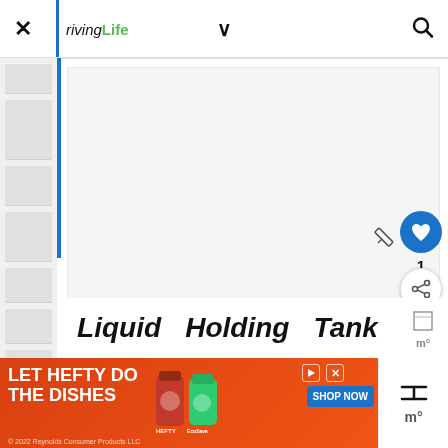rivingLife — navigation header with close (×), chevron (∨), and search (🔍) icons
[Figure (screenshot): Main content area showing a large white/light gray content block (article image placeholder) with a blue vertical bar on the left side. Floating action buttons on the right: a blue circular heart/favorite button, a share button, and a number '1' indicator. A pencil/pen icon is also visible near the heart button.]
Liquid   Holding   Tank
[Figure (screenshot): Advertisement banner: orange background with text 'LET HEFTY DO THE DISHES' — shows dishwashing product bottles (Hefty and EcoSave), a blue 'SHOP NOW' button, a play/pause icon, an X close button, and legal text '© 2022 Reynolds Consumer Products LLC'.]